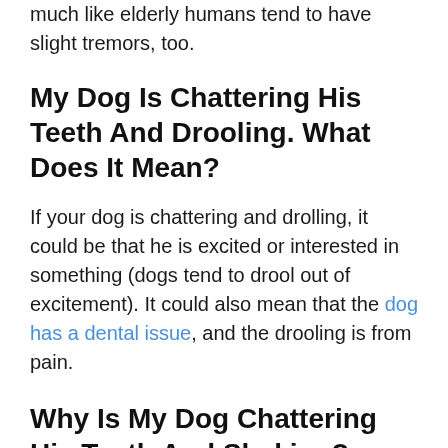much like elderly humans tend to have slight tremors, too.
My Dog Is Chattering His Teeth And Drooling. What Does It Mean?
If your dog is chattering and drolling, it could be that he is excited or interested in something (dogs tend to drool out of excitement). It could also mean that the dog has a dental issue, and the drooling is from pain.
Why Is My Dog Chattering His Teeth And Shaking?